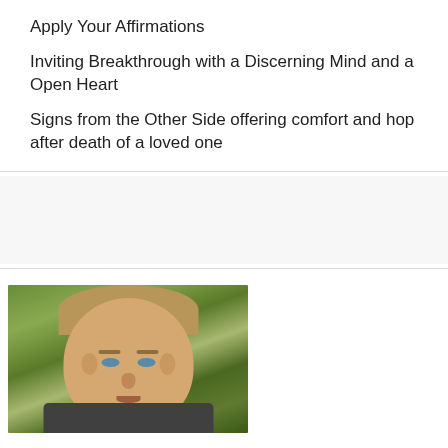Apply Your Affirmations
Inviting Breakthrough with a Discerning Mind and a Open Heart
Signs from the Other Side offering comfort and hop after death of a loved one
[Figure (photo): Portrait photograph of a man with blond hair, blue eyes, wearing a dark shirt, with green foliage in the background]